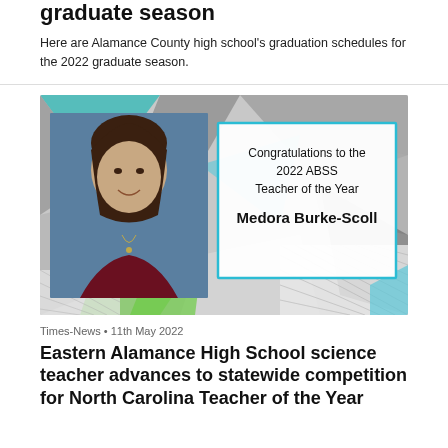graduate season
Here are Alamance County high school's graduation schedules for the 2022 graduate season.
[Figure (photo): Congratulations graphic for the 2022 ABSS Teacher of the Year, Medora Burke-Scoll, showing a photo of the teacher on the left and a congratulations message in a light blue bordered box on the right, against a geometric patterned background.]
Times-News • 11th May 2022
Eastern Alamance High School science teacher advances to statewide competition for North Carolina Teacher of the Year